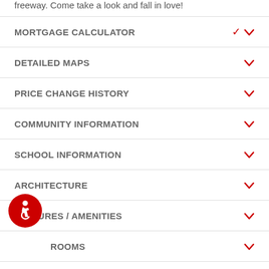freeway. Come take a look and fall in love!
MORTGAGE CALCULATOR
DETAILED MAPS
PRICE CHANGE HISTORY
COMMUNITY INFORMATION
SCHOOL INFORMATION
ARCHITECTURE
FEATURES / AMENITIES
ROOMS
PROPERTY FEATURES